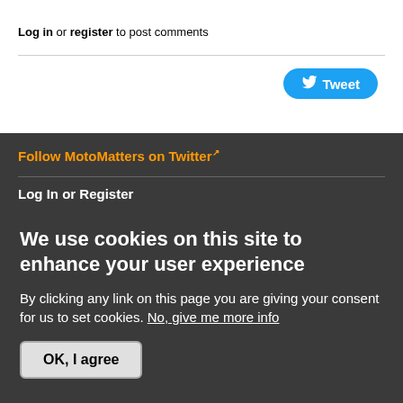Log in or register to post comments
[Figure (other): Tweet button with Twitter bird icon]
Follow MotoMatters on Twitter
Log In or Register
Username or e-mail *
Password *
We use cookies on this site to enhance your user experience
By clicking any link on this page you are giving your consent for us to set cookies. No, give me more info
OK, I agree